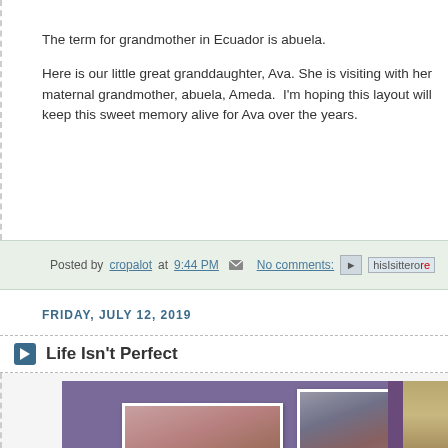The term for grandmother in Ecuador is abuela.
Here is our little great granddaughter, Ava. She is visiting with her maternal grandmother, abuela, Ameda.  I'm hoping this layout will keep this sweet memory alive for Ava over the years.
Posted by cropalot at 9:44 PM  No comments:
FRIDAY, JULY 12, 2019
Life Isn't Perfect
[Figure (photo): Two portrait photos of a woman with long auburn/reddish-brown hair against a purple scrapbook background with decorative strips on the right side.]